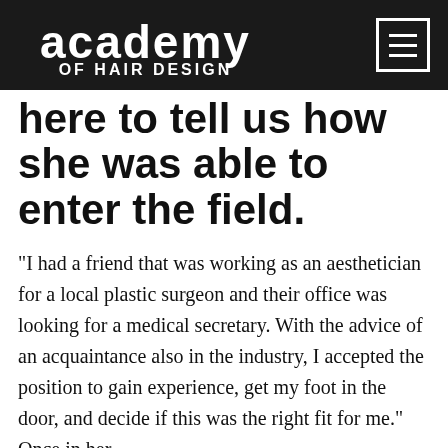academy OF HAIR DESIGN
here to tell us how she was able to enter the field.
“I had a friend that was working as an aesthetician for a local plastic surgeon and their office was looking for a medical secretary. With the advice of an acquaintance also in the industry, I accepted the position to gain experience, get my foot in the door, and decide if this was the right fit for me.” Once in her